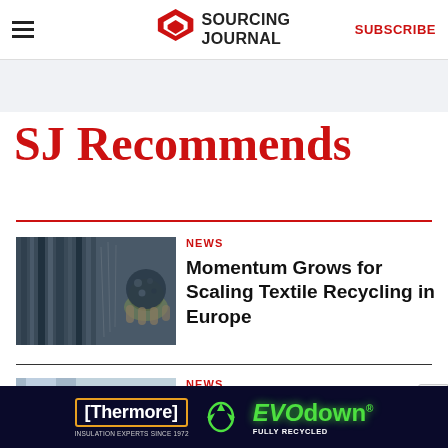Sourcing Journal — SUBSCRIBE
SJ Recommends
NEWS
Momentum Grows for Scaling Textile Recycling in Europe
[Figure (photo): Photo of textile recycling materials — shredded fabric fibers and a hand holding a compressed ball of recycled textile material]
NEWS
[Figure (photo): Partial photo visible at bottom of page, blue/white tones, partially cropped]
[Figure (photo): Thermore EVO down advertisement banner — dark navy background with orange-bordered Thermore logo and neon green EVO down text. Text reads: Thermore, INSULATION EXPERTS SINCE 1972, EVO down, FULLY RECYCLED]